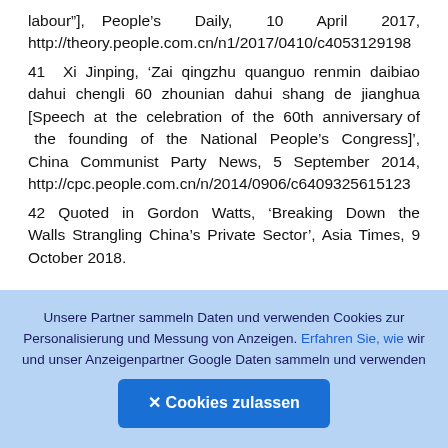labour"], People's Daily, 10 April 2017, http://theory.people.com.cn/n1/2017/0410/c4053129198...
41 Xi Jinping, 'Zai qingzhu quanguo renmin daibiao dahui chengli 60 zhounian dahui shang de jianghua [Speech at the celebration of the 60th anniversary of the founding of the National People's Congress]', China Communist Party News, 5 September 2014, http://cpc.people.com.cn/n/2014/0906/c6409325615123...
42 Quoted in Gordon Watts, 'Breaking Down the Walls Strangling China's Private Sector', Asia Times, 9 October 2018.
43 Nicholas Lardy, The State Strikes Back: The End of Economic Reform in China? (Washington, DC:
Unsere Partner sammeln Daten und verwenden Cookies zur Personalisierung und Messung von Anzeigen. Erfahren Sie, wie wir und unser Anzeigenpartner Google Daten sammeln und verwenden